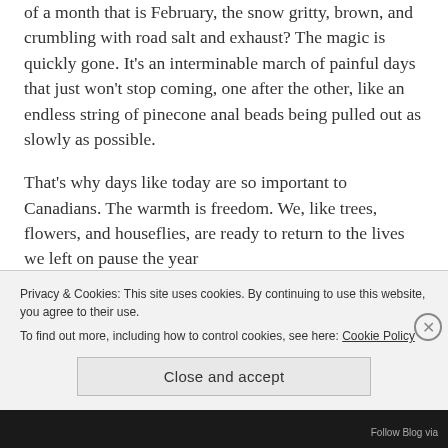of a month that is February, the snow gritty, brown, and crumbling with road salt and exhaust? The magic is quickly gone. It's an interminable march of painful days that just won't stop coming, one after the other, like an endless string of pinecone anal beads being pulled out as slowly as possible.
That's why days like today are so important to Canadians. The warmth is freedom. We, like trees, flowers, and houseflies, are ready to return to the lives we left on pause the year
Privacy & Cookies: This site uses cookies. By continuing to use this website, you agree to their use.
To find out more, including how to control cookies, see here: Cookie Policy
Close and accept